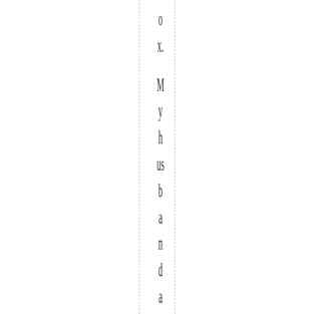o x. My husband and I were in the waiting r